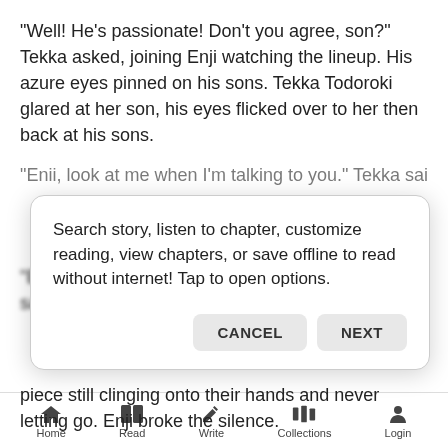"Well! He's passionate! Don't you agree, son?" Tekka asked, joining Enji watching the lineup. His azure eyes pinned on his sons. Tekka Todoroki glared at her son, his eyes flicked over to her then back at his sons.
"Enii, look at me when I'm talking to you." Tekka said
Search story, listen to chapter, customize reading, view chapters, or save offline to read without internet! Tap to open options.
piece still clinging onto their hands and never letting go. Enji broke the silence.
"Why are you here?" he said, voice hovering between
Home   Read   Write   Collections   Login